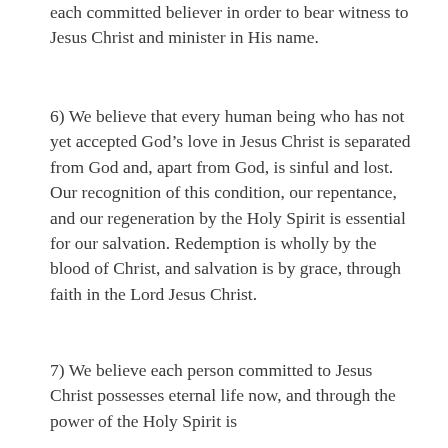each committed believer in order to bear witness to Jesus Christ and minister in His name.
6) We believe that every human being who has not yet accepted God’s love in Jesus Christ is separated from God and, apart from God, is sinful and lost. Our recognition of this condition, our repentance, and our regeneration by the Holy Spirit is essential for our salvation. Redemption is wholly by the blood of Christ, and salvation is by grace, through faith in the Lord Jesus Christ.
7) We believe each person committed to Jesus Christ possesses eternal life now, and through the power of the Holy Spirit is